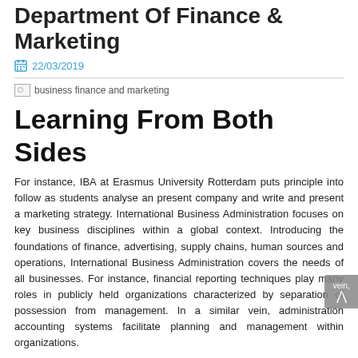Department Of Finance & Marketing
22/03/2019
[Figure (photo): Broken image placeholder labeled 'business finance and marketing']
Learning From Both Sides
For instance, IBA at Erasmus University Rotterdam puts principle into follow as students analyse an present company and write and present a marketing strategy. International Business Administration focuses on key business disciplines within a global context. Introducing the foundations of finance, advertising, supply chains, human sources and operations, International Business Administration covers the needs of all businesses. For instance, financial reporting techniques play many roles in publicly held organizations characterized by separation of possession from management. In a similar vein, administration accounting systems facilitate planning and management within organizations.